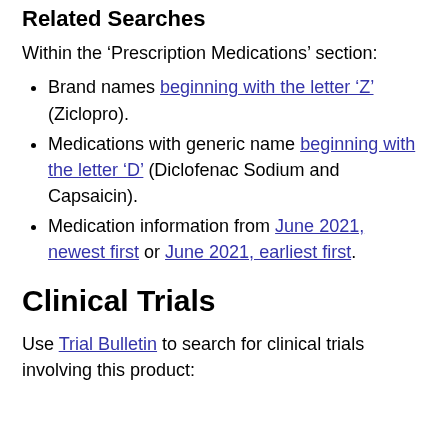Related Searches
Within the ‘Prescription Medications’ section:
Brand names beginning with the letter ‘Z’ (Ziclopro).
Medications with generic name beginning with the letter ‘D’ (Diclofenac Sodium and Capsaicin).
Medication information from June 2021, newest first or June 2021, earliest first.
Clinical Trials
Use Trial Bulletin to search for clinical trials involving this product: